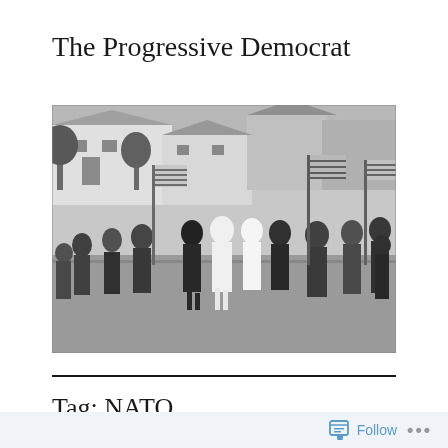The Progressive Democrat
[Figure (photo): Black and white photograph of a civil rights march with crowds of people walking along a street, carrying multiple American flags, with houses visible in the background.]
Tag: NATO
Follow ...